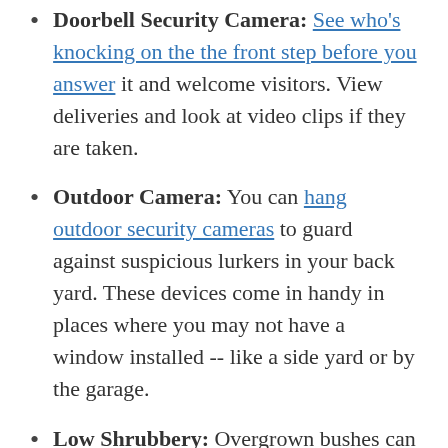Doorbell Security Camera: See who's knocking on the the front step before you answer it and welcome visitors. View deliveries and look at video clips if they are taken.
Outdoor Camera: You can hang outdoor security cameras to guard against suspicious lurkers in your back yard. These devices come in handy in places where you may not have a window installed -- like a side yard or by the garage.
Low Shrubbery: Overgrown bushes can create some solitude, but they also obscure your line of sight of the yard. Don't give potential burglars a place to hide. Plus, tall bushes or trees too close to your home can obstruct gutters and summon ants and termites.